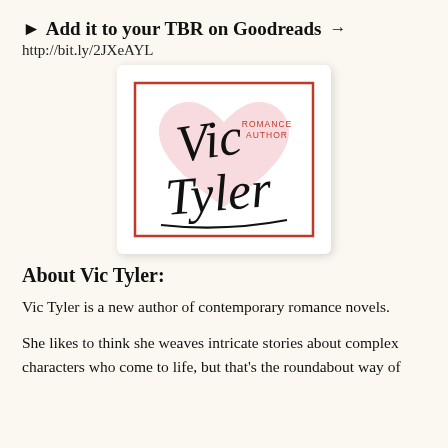▶ Add it to your TBR on Goodreads →
http://bit.ly/2JXeAYL
[Figure (logo): Vic Tyler Romance Author logo — cursive signature 'Vic Tyler' in black over a pink heart watermark, red border rectangle, small text 'ROMANCE AUTHOR' in red, white background.]
About Vic Tyler:
Vic Tyler is a new author of contemporary romance novels.
She likes to think she weaves intricate stories about complex characters who come to life, but that's the roundabout way of saying she enjoys writing and she'd love to entertain you, and